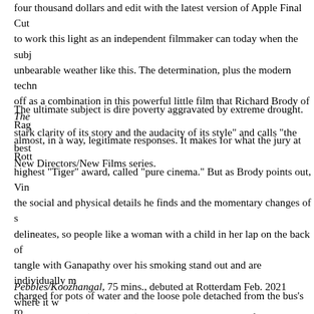four thousand dollars and edit with the latest version of Apple Final Cut to work this light as an independent filmmaker can today when the subject unbearable weather like this. The determination, plus the modern techn off as a combination in this powerful little film that Richard Brody of The stark clarity of its story and the audacity of its style" and calls "the best New Directors/New Films series.
The ultimate subject is dire poverty aggravated by extreme drought. Rag almost, in a way, legitimate responses. It makes for what the jury at Rott highest "Tiger" award, called "pure cinema." But as Brody points out, Vin the social and physical details he finds and the momentary changes of s delineates, so people like a woman with a child in her lap on the back of tangle with Ganapathy over his smoking stand out and are individually m charged for pots of water and the loose pole detached from the bus's r and glaring in all directions, retying his lungi, or energetically lighting a ci energy and menace, though menace we sense is going nowhere and in obedient, and follows, but also tears up the return bus tickets so they m opposite direction in powerful protest later on, and continues to provok other ways, throwing away his matches and burning his father's bare ba There is no order here but the background throb of desperation and the when all are victims, but the filmmaker creates his own sense of order a his relentless attention to physical detail and his gift for pauses and sile power and its passion, the sense of a story, however grim and petty, to precision.
Pebbles/Koozhangal, 75 mins., debuted at Rotterdam Feb. 2021 where it w (Mexico, Jeonju (all internet). Screened at home online for this review as Lincoln Center series New Directors/New Films (Apr. 28-May 8, 2021).